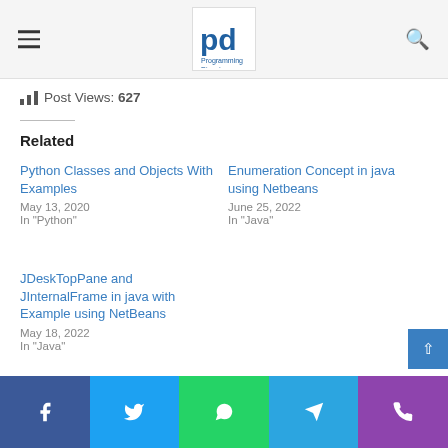Programming Digest logo, hamburger menu, search icon
Post Views: 627
Related
Python Classes and Objects With Examples
May 13, 2020
In "Python"
Enumeration Concept in java using Netbeans
June 25, 2022
In "Java"
JDeskTopPane and JInternalFrame in java with Example using NetBeans
May 18, 2022
In "Java"
Facebook Twitter WhatsApp Telegram Phone social share buttons